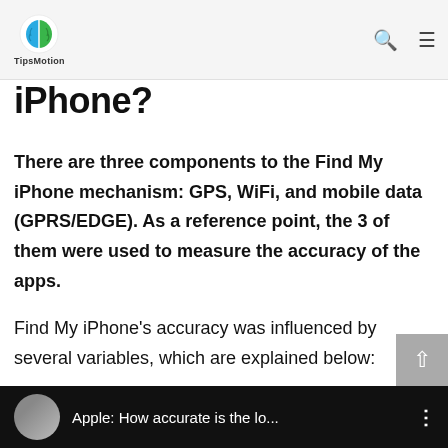TipsMotion
iPhone?
There are three components to the Find My iPhone mechanism: GPS, WiFi, and mobile data (GPRS/EDGE). As a reference point, the 3 of them were used to measure the accuracy of the apps.
Find My iPhone’s accuracy was influenced by several variables, which are explained below:
[Figure (screenshot): Video thumbnail bar with avatar photo, title 'Apple: How accurate is the lo...' and vertical dots menu icon on black background]